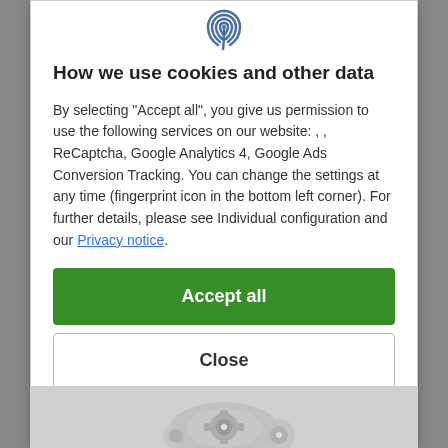[Figure (illustration): Fingerprint icon at top center of cookie consent modal]
How we use cookies and other data
By selecting "Accept all", you give us permission to use the following services on our website: , , ReCaptcha, Google Analytics 4, Google Ads Conversion Tracking. You can change the settings at any time (fingerprint icon in the bottom left corner). For further details, please see Individual configuration and our Privacy notice.
Accept all
Close
Configuration
[Figure (photo): Bottom image showing mechanical parts/gears in grayscale]